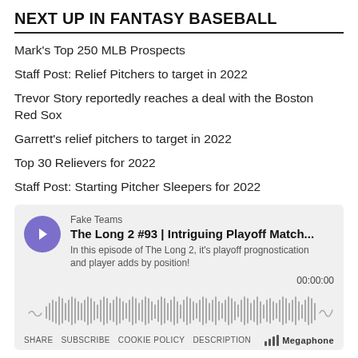NEXT UP IN FANTASY BASEBALL
Mark's Top 250 MLB Prospects
Staff Post: Relief Pitchers to target in 2022
Trevor Story reportedly reaches a deal with the Boston Red Sox
Garrett's relief pitchers to target in 2022
Top 30 Relievers for 2022
Staff Post: Starting Pitcher Sleepers for 2022
[Figure (screenshot): Podcast player widget for 'Fake Teams – The Long 2 #93 | Intriguing Playoff Match...' with play button, waveform, timestamp 00:00:00, and footer links: SHARE, SUBSCRIBE, COOKIE POLICY, DESCRIPTION, Megaphone logo]